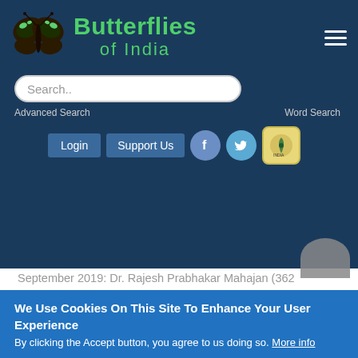Butterflies of India
September 2019: Dr. Rajesh Prabhakar Mahajan (362 images). Other contributors who qualified this month: Fahim Khan (214 images)
October 2019: Raju Kasambe (218 images). Other contributors who qualified this month: Dr. Rajesh Prabhakar Mahajan (214).
November 2019: Dr. Rajesh Prabhakar Mahajan (208 images). No winners for other months.
We Use Cookies On This Site To Enhance Your User Experience
By clicking the Accept button, you agree to us doing so. More info